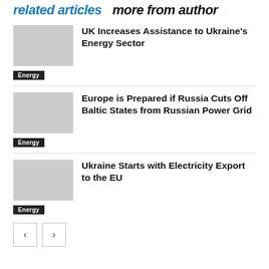Related articles  more from author
UK Increases Assistance to Ukraine's Energy Sector
Europe is Prepared if Russia Cuts Off Baltic States from Russian Power Grid
Ukraine Starts with Electricity Export to the EU